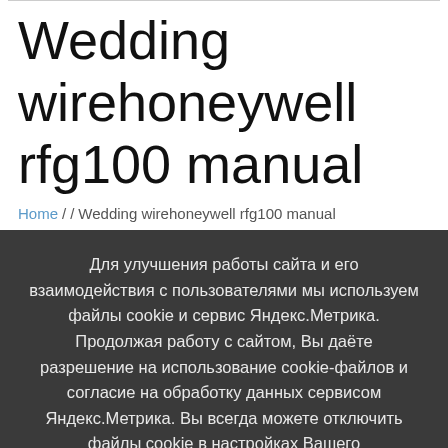Wedding wirehoneywell rfg100 manual
Home / / Wedding wirehoneywell rfg100 manual
Для улучшения работы сайта и его взаимодействия с пользователями мы используем файлы cookie и сервис Яндекс.Метрика. Продолжая работу с сайтом, Вы даёте разрешение на использование cookie-файлов и согласие на обработку данных сервисом Яндекс.Метрика. Вы всегда можете отключить файлы cookie в настройках Вашего браузера.
Принять